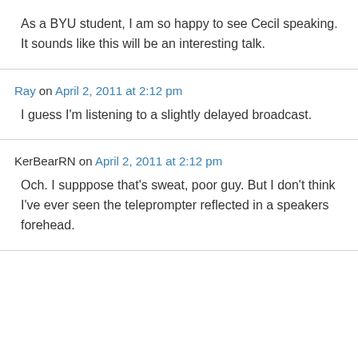As a BYU student, I am so happy to see Cecil speaking. It sounds like this will be an interesting talk.
Ray on April 2, 2011 at 2:12 pm
I guess I'm listening to a slightly delayed broadcast.
KerBearRN on April 2, 2011 at 2:12 pm
Och. I supppose that's sweat, poor guy. But I don't think I've ever seen the teleprompter reflected in a speakers forehead.